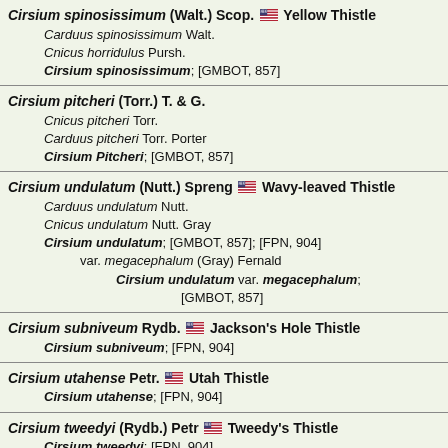Cirsium spinosissimum (Walt.) Scop. 🇺🇸 Yellow Thistle
    Carduus spinosissimum Walt.
    Cnicus horridulus Pursh.
    Cirsium spinosissimum; [GMBOT, 857]
Cirsium pitcheri (Torr.) T. & G.
    Cnicus pitcheri Torr.
    Carduus pitcheri Torr. Porter
    Cirsium Pitcheri; [GMBOT, 857]
Cirsium undulatum (Nutt.) Spreng 🇺🇸 Wavy-leaved Thistle
    Carduus undulatum Nutt.
    Cnicus undulatum Nutt. Gray
    Cirsium undulatum; [GMBOT, 857]; [FPN, 904]
    var. megacephalum (Gray) Fernald
        Cirsium undulatum var. megacephalum; [GMBOT, 857]
Cirsium subniveum Rydb. 🇺🇸 Jackson's Hole Thistle
    Cirsium subniveum; [FPN, 904]
Cirsium utahense Petr. 🇺🇸 Utah Thistle
    Cirsium utahense; [FPN, 904]
Cirsium tweedyi (Rydb.) Petr 🇺🇸 Tweedy's Thistle
    Cirsium tweedyi; [FPN, 904]